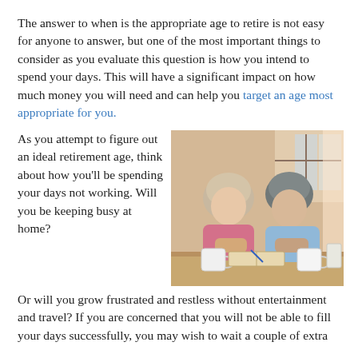The answer to when is the appropriate age to retire is not easy for anyone to answer, but one of the most important things to consider as you evaluate this question is how you intend to spend your days. This will have a significant impact on how much money you will need and can help you target an age most appropriate for you.
[Figure (photo): An older couple sitting together at a table, looking at paperwork and writing, with coffee mugs in front of them, in a warm domestic setting.]
As you attempt to figure out an ideal retirement age, think about how you'll be spending your days not working. Will you be keeping busy at home?
Or will you grow frustrated and restless without entertainment and travel? If you are concerned that you will not be able to fill your days successfully, you may wish to wait a couple of extra